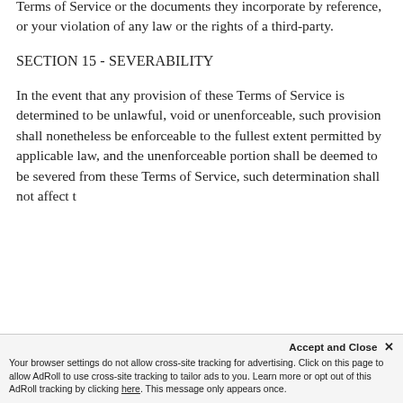Terms of Service or the documents they incorporate by reference, or your violation of any law or the rights of a third-party.
SECTION 15 - SEVERABILITY
In the event that any provision of these Terms of Service is determined to be unlawful, void or unenforceable, such provision shall nonetheless be enforceable to the fullest extent permitted by applicable law, and the unenforceable portion shall be deemed to be severed from these Terms of Service, such determination shall not affect the
Accept and Close ✕
Your browser settings do not allow cross-site tracking for advertising. Click on this page to allow AdRoll to use cross-site tracking to tailor ads to you. Learn more or opt out of this AdRoll tracking by clicking here. This message only appears once.